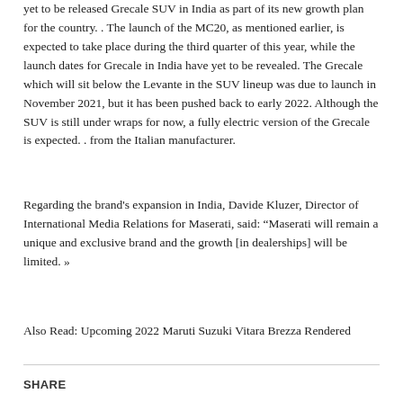yet to be released Grecale SUV in India as part of its new growth plan for the country. . The launch of the MC20, as mentioned earlier, is expected to take place during the third quarter of this year, while the launch dates for Grecale in India have yet to be revealed. The Grecale which will sit below the Levante in the SUV lineup was due to launch in November 2021, but it has been pushed back to early 2022. Although the SUV is still under wraps for now, a fully electric version of the Grecale is expected. . from the Italian manufacturer.
Regarding the brand's expansion in India, Davide Kluzer, Director of International Media Relations for Maserati, said: “Maserati will remain a unique and exclusive brand and the growth [in dealerships] will be limited. »
Also Read: Upcoming 2022 Maruti Suzuki Vitara Brezza Rendered